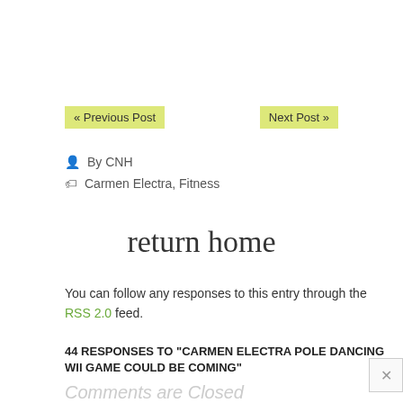« Previous Post
Next Post »
By CNH
Carmen Electra, Fitness
return home
You can follow any responses to this entry through the RSS 2.0 feed.
44 RESPONSES TO "CARMEN ELECTRA POLE DANCING WII GAME COULD BE COMING"
Comments are Closed